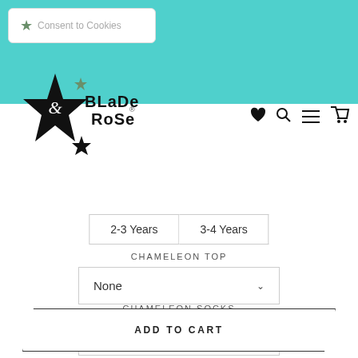Blade & Rose website header with teal background and logo
Consent to Cookies
[Figure (logo): Blade & Rose logo with star graphic, black text on white background]
2-3 Years
3-4 Years
CHAMELEON TOP
None
CHAMELEON SOCKS
None
ADD TO CART